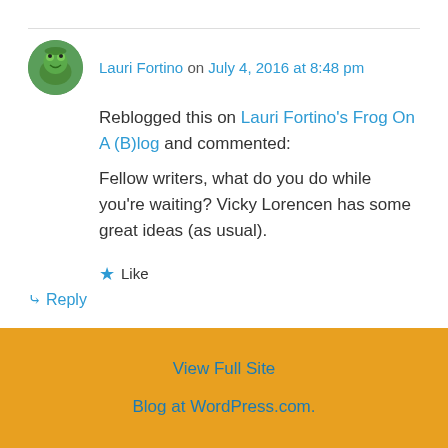Lauri Fortino on July 4, 2016 at 8:48 pm
Reblogged this on Lauri Fortino's Frog On A (B)log and commented:
Fellow writers, what do you do while you're waiting? Vicky Lorencen has some great ideas (as usual).
★ Like
↳ Reply
View Full Site
Blog at WordPress.com.